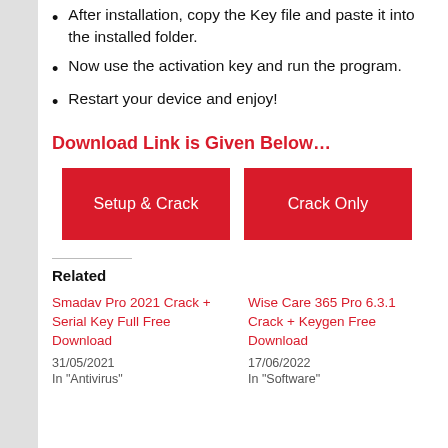After installation, copy the Key file and paste it into the installed folder.
Now use the activation key and run the program.
Restart your device and enjoy!
Download Link is Given Below…
[Figure (other): Two red download buttons labeled 'Setup & Crack' and 'Crack Only']
Related
Smadav Pro 2021 Crack + Serial Key Full Free Download
31/05/2021
In 'Antivirus'
Wise Care 365 Pro 6.3.1 Crack + Keygen Free Download
17/06/2022
In 'Software'